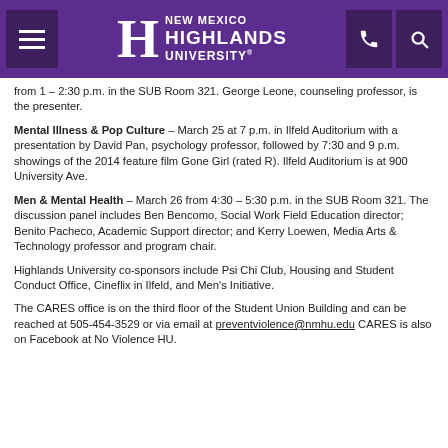New Mexico Highlands University
from 1 – 2:30 p.m. in the SUB Room 321. George Leone, counseling professor, is the presenter.
Mental Illness & Pop Culture – March 25 at 7 p.m. in Ilfeld Auditorium with a presentation by David Pan, psychology professor, followed by 7:30 and 9 p.m. showings of the 2014 feature film Gone Girl (rated R). Ilfeld Auditorium is at 900 University Ave.
Men & Mental Health – March 26 from 4:30 – 5:30 p.m. in the SUB Room 321. The discussion panel includes Ben Bencomo, Social Work Field Education director; Benito Pacheco, Academic Support director; and Kerry Loewen, Media Arts & Technology professor and program chair.
Highlands University co-sponsors include Psi Chi Club, Housing and Student Conduct Office, Cineflix in Ilfeld, and Men's Initiative.
The CARES office is on the third floor of the Student Union Building and can be reached at 505-454-3529 or via email at preventviolence@nmhu.edu CARES is also on Facebook at No Violence HU.